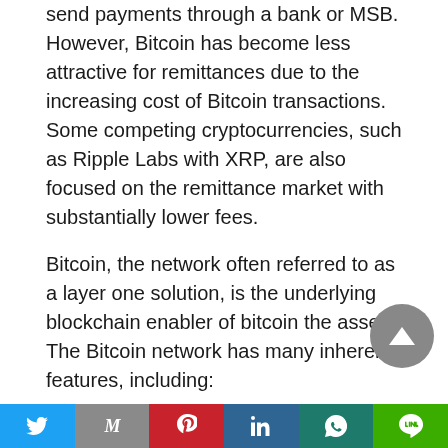send payments through a bank or MSB. However, Bitcoin has become less attractive for remittances due to the increasing cost of Bitcoin transactions. Some competing cryptocurrencies, such as Ripple Labs with XRP, are also focused on the remittance market with substantially lower fees.
Bitcoin, the network often referred to as a layer one solution, is the underlying blockchain enabler of bitcoin the asset. The Bitcoin network has many inherent features, including:
Bitcoin is a global settlement network that operates 24x7x365